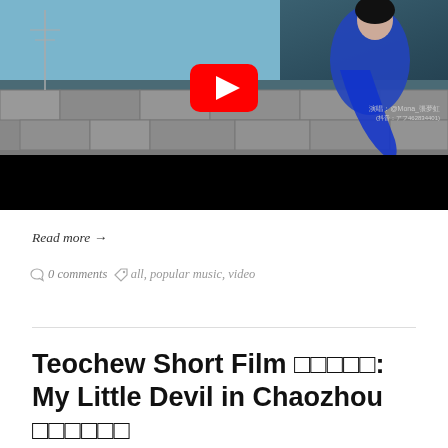[Figure (screenshot): YouTube video thumbnail showing a woman in a blue dress dancing outdoors with a YouTube play button overlay, and a black progress bar at the bottom. Chinese caption text visible at lower right.]
Read more →
0 comments   all, popular music, video
Teochew Short Film 𝗣𝗣𝗣𝗣𝗣: My Little Devil in Chaozhou 𝗣𝗣𝗣𝗣𝗣𝗣